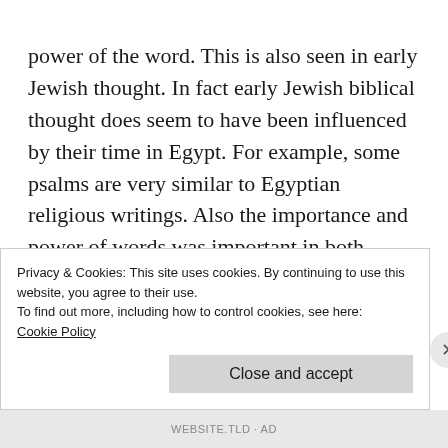power of the word. This is also seen in early Jewish thought. In fact early Jewish biblical thought does seem to have been influenced by their time in Egypt. For example, some psalms are very similar to Egyptian religious writings. Also the importance and power of words was important in both Egyptian and biblical thought. In addition, a recent biblical scholar pointed out that what gets translated as “soul” in the Hebrew bible is closer to accurately being translated as “breath of life,” a term the
Privacy & Cookies: This site uses cookies. By continuing to use this website, you agree to their use.
To find out more, including how to control cookies, see here:
Cookie Policy
Close and accept